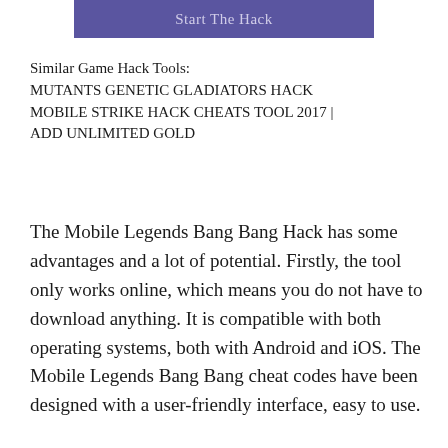[Figure (other): Purple button labeled 'Start The Hack']
Similar Game Hack Tools:
MUTANTS GENETIC GLADIATORS HACK
MOBILE STRIKE HACK CHEATS TOOL 2017 | ADD UNLIMITED GOLD
The Mobile Legends Bang Bang Hack has some advantages and a lot of potential. Firstly, the tool only works online, which means you do not have to download anything. It is compatible with both operating systems, both with Android and iOS. The Mobile Legends Bang Bang cheat codes have been designed with a user-friendly interface, easy to use.